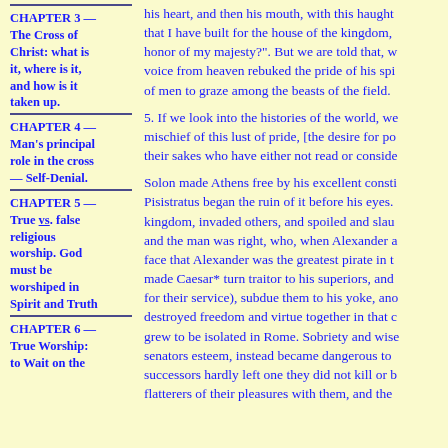CHAPTER 3 — The Cross of Christ: what is it, where is it, and how is it taken up.
CHAPTER 4 — Man's principal role in the cross — Self-Denial.
CHAPTER 5 — True vs. false religious worship. God must be worshiped in Spirit and Truth
CHAPTER 6 — True Worship: to Wait on the
his heart, and then his mouth, with this haught... that I have built for the house of the kingdom, honor of my majesty?". But we are told that, w... voice from heaven rebuked the pride of his spi... of men to graze among the beasts of the field.
5. If we look into the histories of the world, we... mischief of this lust of pride, [the desire for po... their sakes who have either not read or conside...
Solon made Athens free by his excellent consti... Pisistratus began the ruin of it before his eyes. kingdom, invaded others, and spoiled and slau... and the man was right, who, when Alexander a... face that Alexander was the greatest pirate in t... made Caesar* turn traitor to his superiors, and... for their service), subdue them to his yoke, ano... destroyed freedom and virtue together in that c... grew to be isolated in Rome. Sobriety and wise... senators esteem, instead became dangerous to ... successors hardly left one they did not kill or b... flatterers of their pleasures with them, and the...